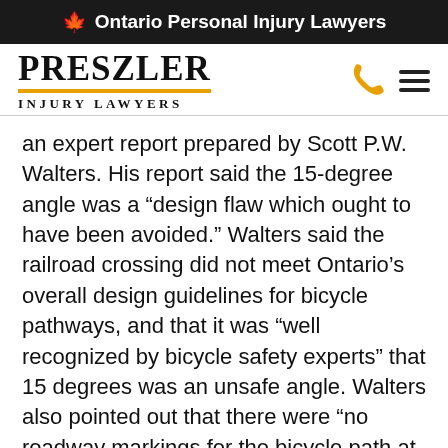Ontario Personal Injury Lawyers
[Figure (logo): Preszler Injury Lawyers logo with yellow underline, phone icon and hamburger menu]
an expert report prepared by Scott P.W. Walters. His report said the 15-degree angle was a “design flaw which ought to have been avoided.” Walters said the railroad crossing did not meet Ontario’s overall design guidelines for bicycle pathways, and that it was “well recognized by bicycle safety experts” that 15 degrees was an unsafe angle. Walters also pointed out that there were “no roadway markings for the bicycle path at the railway crossing” where the accident occurred, nor even a sign to warn bicyclists that they were